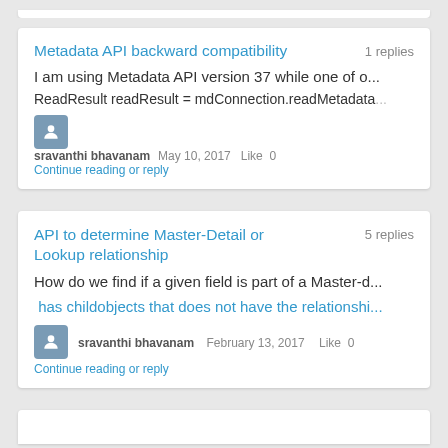Metadata API backward compatibility
I am using Metadata API version 37 while one of o...
ReadResult readResult = mdConnection.readMetadata...
sravanthi bhavanam   May 10, 2017   Like  0   Continue reading or reply
API to determine Master-Detail or Lookup relationship
How do we find if a given field is part of a Master-d... has childobjects that does not have the relationshi...
sravanthi bhavanam   February 13, 2017   Like  0   Continue reading or reply